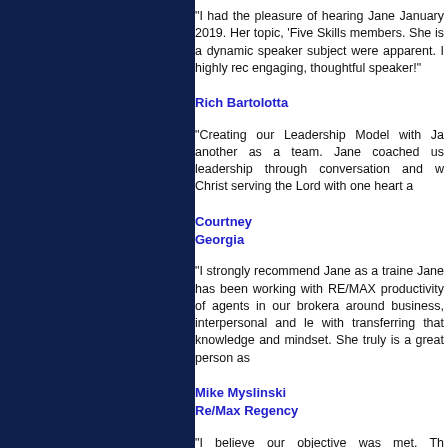"I had the pleasure of hearing Jane January 2019. Her topic, 'Five Skills members. She is a dynamic speaker subject were apparent. I highly rec engaging, thoughtful speaker!"
Rich Bartolotta
"Creating our Leadership Model with Ja another as a team. Jane coached us leadership through conversation and w Christ serving the Lord with one heart a
Courtney
Georgia
"I strongly recommend Jane as a traine Jane has been working with RE/MAX productivity of agents in our brokera around business, interpersonal and le with transferring that knowledge and mindset. She truly is a great person as
Mike Myslinski
Re/Max Regency
"I believe our objective was met. Th comprehend what was being commun greatly appreciated the fact that Jane w She was careful to make sure she un